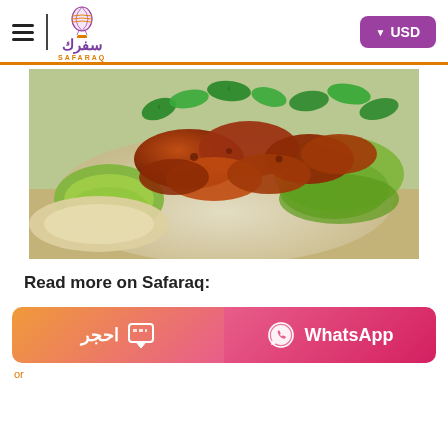Safaraq / SAFARAQ logo with USD currency selector
[Figure (photo): A plate of spiced meat (looks like Lebanese or Middle Eastern grilled meat) garnished with fresh green lettuce leaves, mint leaves, and flatbread on a wooden surface.]
Read more on Safaraq:
[Figure (screenshot): Two action buttons: 'احجر' (Book) with chat icon on orange-to-pink gradient background, and 'WhatsApp' with WhatsApp icon on pink-to-red gradient background.]